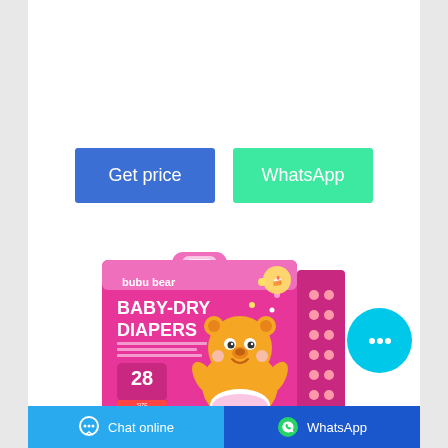[Figure (other): Two call-to-action buttons: blue 'Get price' button and green 'WhatsApp' button]
[Figure (photo): Bubu Bear Baby-Dry Diapers product package, pink box with cartoon bear, count 28]
[Figure (other): Cyan chat bubble button with ellipsis icon on right side]
Chat online   WhatsApp